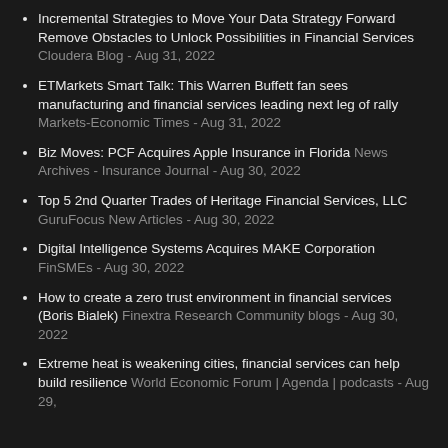Incremental Strategies to Move Your Data Strategy Forward Remove Obstacles to Unlock Possibilities in Financial Services Cloudera Blog - Aug 31, 2022
ETMarkets Smart Talk: This Warren Buffett fan sees manufacturing and financial services leading next leg of rally Markets-Economic Times - Aug 31, 2022
Biz Moves: PCF Acquires Apple Insurance in Florida News Archives - Insurance Journal - Aug 30, 2022
Top 5 2nd Quarter Trades of Heritage Financial Services, LLC GuruFocus New Articles - Aug 30, 2022
Digital Intelligence Systems Acquires MAKE Corporation FinSMEs - Aug 30, 2022
How to create a zero trust environment in financial services (Boris Bialek) Finextra Research Community blogs - Aug 30, 2022
Extreme heat is weakening cities, financial services can help build resilience World Economic Forum | Agenda | podcasts - Aug 29,